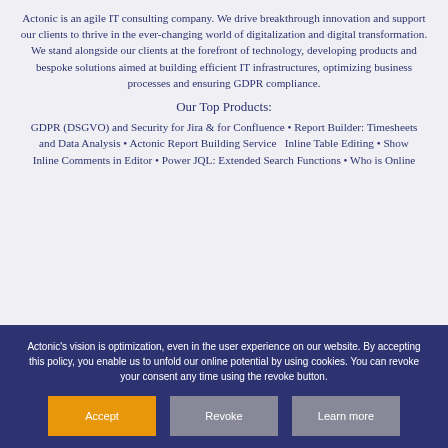Actonic is an agile IT consulting company. We drive breakthrough innovation and support our clients to thrive in the ever-changing world of digitalization and digital transformation. We stand alongside our clients at the forefront of technology, developing products and bespoke solutions aimed at building efficient IT infrastructures, optimizing business processes and ensuring GDPR compliance.
Our Top Products:
GDPR (DSGVO) and Security for Jira & for Confluence • Report Builder: Timesheets and Data Analysis • Actonic Report Building Service  Inline Table Editing • Show Inline Comments in Editor • Power JQL: Extended Search Functions • Who is Online
Actonic's vision is optimization, even in the user experience on our website. By accepting this policy, you enable us to unfold our online potential by using cookies. You can revoke your consent any time using the revoke button.